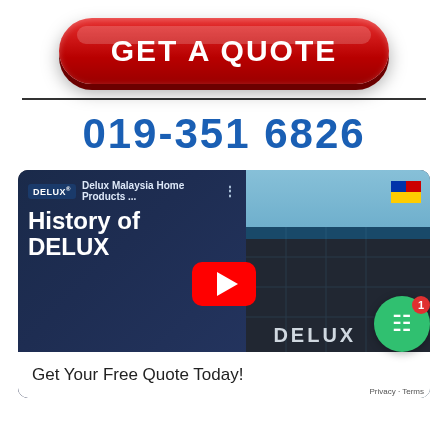[Figure (illustration): Red rounded rectangle button with white bold text 'GET A QUOTE' with gloss highlight]
019-351 6826
[Figure (screenshot): YouTube video thumbnail for 'History of DELUX' by Delux Malaysia Home Products. Shows dark blue left panel with white bold text 'History of DELUX' and right panel showing DELUX building facade. Red YouTube play button in center. Bottom bar reads 'Get Your Free Quote Today!' with green chat widget in bottom right corner. Also shows 'DELUX® Holdings (M) Sdn. Bhd. is a pioneer leader in Southeast Asia Security Home Products Industry.']